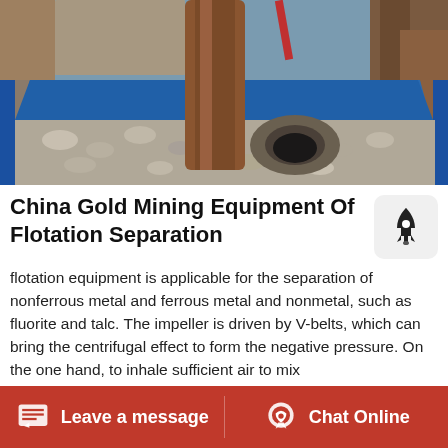[Figure (photo): Photo of flotation separation equipment - a blue metal tank/bin containing gravel and stones with a large brown cylindrical component inside, at an outdoor mining site]
China Gold Mining Equipment Of Flotation Separation
flotation equipment is applicable for the separation of nonferrous metal and ferrous metal and nonmetal, such as fluorite and talc. The impeller is driven by V-belts, which can bring the centrifugal effect to form the negative pressure. On the one hand, to inhale sufficient air to mix
Leave a message   Chat Online